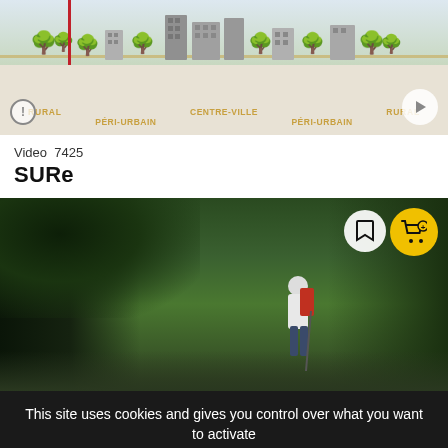[Figure (infographic): Horizontal infographic strip showing a rural-to-urban-to-rural landscape with trees and buildings. Labels: RURAL, PÉRI-URBAIN, CENTRE-VILLE, PÉRI-URBAIN, RURAL. A red vertical bar marks a point on the left side. Play and info buttons visible.]
Video  7425
SURe
[Figure (photo): Outdoor photo of a forested/park area with large trees. A person wearing a white jacket and carrying a red backpack is visible in the right-center area. Bookmark icon and yellow cart icon with plus badge overlay on top right.]
This site uses cookies and gives you control over what you want to activate
✓ OK, accept all
Personalize
Privacy policy